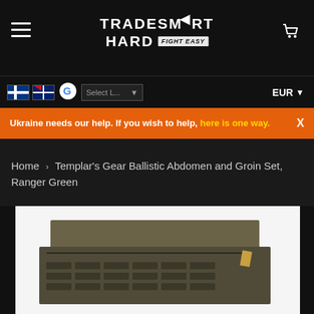TRADESMART HARD FIGHT EASY
Ukraine needs our help. If you wish to help, here is one way.
Home > Templar's Gear Ballistic Abdomen and Groin Set, Ranger Green
[Figure (photo): Templar's Gear Ballistic Abdomen and Groin Set in Ranger Green color, showing front/back panels with MOLLE webbing and velcro attachment, olive drab/green color]